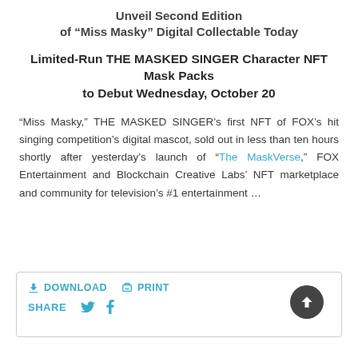Unveil Second Edition of “Miss Masky” Digital Collectable Today
Limited-Run THE MASKED SINGER Character NFT Mask Packs to Debut Wednesday, October 20
“Miss Masky,” THE MASKED SINGER’s first NFT of FOX’s hit singing competition’s digital mascot, sold out in less than ten hours shortly after yesterday’s launch of “The MaskVerse,” FOX Entertainment and Blockchain Creative Labs’ NFT marketplace and community for television’s #1 entertainment …
DOWNLOAD  PRINT  SHARE